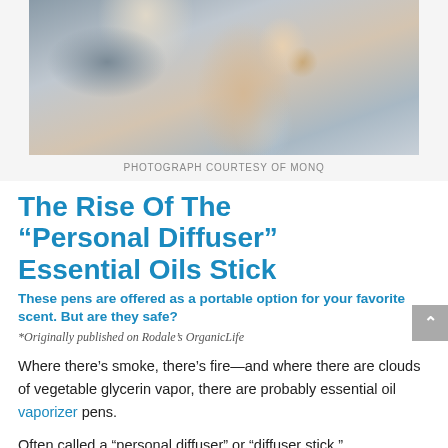[Figure (photo): Photo of a person holding something near their mouth, blurred background, outdoor setting. Photograph courtesy of MONQ.]
PHOTOGRAPH COURTESY OF MONQ
The Rise Of The “Personal Diffuser” Essential Oils Stick
These pens are offered as a portable option for your favorite scent. But are they safe?
*Originally published on Rodale’s OrganicLife
Where there’s smoke, there’s fire—and where there are clouds of vegetable glycerin vapor, there are probably essential oil vaporizer pens.
Often called a “personal diffuser” or “diffuser stick,” aromatherapy “vape” pens look like colorful hard...